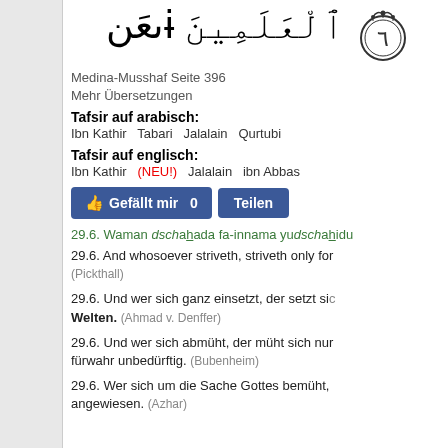[Figure (other): Arabic calligraphy with ornamental circle containing number 6 (٦), text reads part of Quran verse]
Medina-Musshaf Seite 396
Mehr Übersetzungen
Tafsir auf arabisch:
Ibn Kathir Tabari Jalalain Qurtubi
Tafsir auf englisch:
Ibn Kathir (NEU!) Jalalain ibn Abbas
[Figure (other): Facebook like and share buttons: 'Gefällt mir 0' and 'Teilen']
29.6. Waman dschahada fa-innama yudschahidu
29.6. And whosoever striveth, striveth only for (Pickthall)
29.6. Und wer sich ganz einsetzt, der setzt sich ein... Welten. (Ahmad v. Denffer)
29.6. Und wer sich abmüht, der müht sich nur... fürwahr unbedürftig. (Bubenheim)
29.6. Wer sich um die Sache Gottes bemüht,... angewiesen. (Azhar)